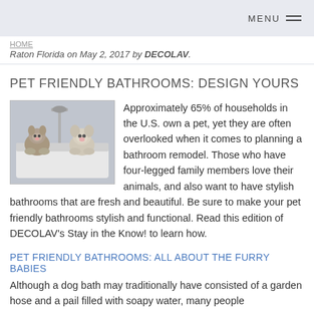MENU
HOME ... Raton Florida on May 2, 2017 by DECOLAV.
PET FRIENDLY BATHROOMS: DESIGN YOURS
[Figure (photo): A cat and a dog sitting in a bathtub with a shower fixture in the background]
Approximately 65% of households in the U.S. own a pet, yet they are often overlooked when it comes to planning a bathroom remodel. Those who have four-legged family members love their animals, and also want to have stylish bathrooms that are fresh and beautiful. Be sure to make your pet friendly bathrooms stylish and functional. Read this edition of DECOLAV's Stay in the Know! to learn how.
PET FRIENDLY BATHROOMS: ALL ABOUT THE FURRY BABIES
Although a dog bath may traditionally have consisted of a garden hose and a pail filled with soapy water, many people